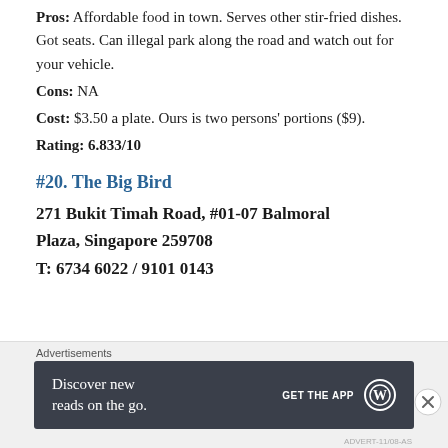Pros: Affordable food in town. Serves other stir-fried dishes. Got seats. Can illegal park along the road and watch out for your vehicle.
Cons: NA
Cost: $3.50 a plate. Ours is two persons' portions ($9).
Rating: 6.833/10
#20. The Big Bird
271 Bukit Timah Road, #01-07 Balmoral Plaza, Singapore 259708
T: 6734 6022 / 9101 0143
[Figure (infographic): Advertisement banner: 'Discover new reads on the go. GET THE APP' with WordPress logo on dark background, with close button overlay.]